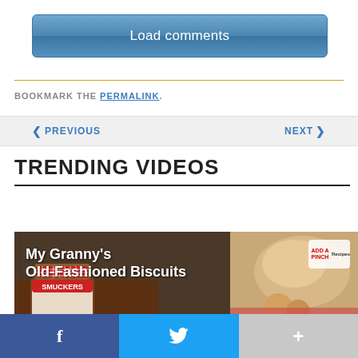Load comments
BOOKMARK THE PERMALINK.
PREVIOUS
NEXT
TRENDING VIDEOS
[Figure (screenshot): Video thumbnail showing My Granny's Old-Fashioned Biscuits with a jar of Smuckers jam and biscuit dough]
f
Twitter bird icon
+